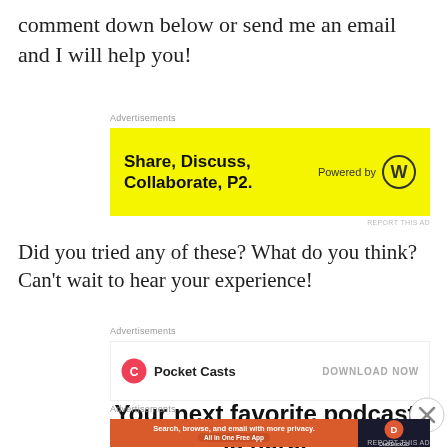comment down below or send me an email and I will help you!
Advertisements
[Figure (other): Yellow advertisement banner for P2 with text 'Share, Discuss, Collaborate, P2.' and 'Powered by' WordPress logo]
REPORT THIS AD
Did you tried any of these? What do you think? Can't wait to hear your experience!
Advertisements
[Figure (other): Pocket Casts advertisement with logo and 'DOWNLOAD NOW' text]
Your next favorite podcast is here.
Advertisements
[Figure (other): DuckDuckGo advertisement - Search, browse, and email with more privacy. All in One Free App]